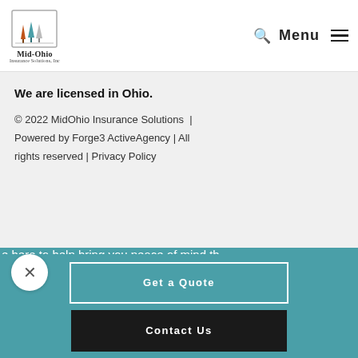[Figure (logo): Mid-Ohio Insurance Solutions, Inc. logo with three trees (orange, teal, gray) in a square frame, with company name below]
Mid-Ohio Insurance Solutions, Inc. | Menu
We are licensed in Ohio.
© 2022 MidOhio Insurance Solutions | Powered by Forge3 ActiveAgency | All rights reserved | Privacy Policy
e here to help bring you peace of mind th
Get a Quote
Contact Us